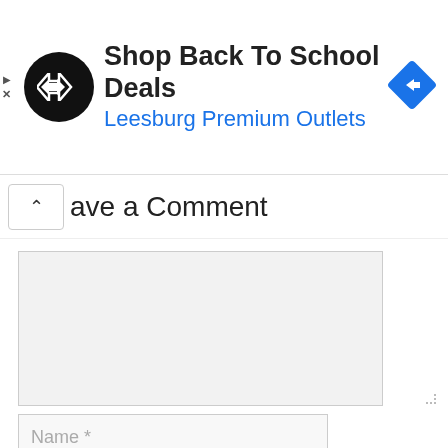[Figure (screenshot): Advertisement banner for 'Shop Back To School Deals' at Leesburg Premium Outlets. Features a circular black logo with double arrow symbol, text title in bold black, subtitle in blue, and a blue diamond-shaped arrow button on the right. Small play and X controls on the far left.]
ave a Comment
[Figure (screenshot): Web form showing a large empty textarea for comment input with a light gray background, followed by a Name * input field below.]